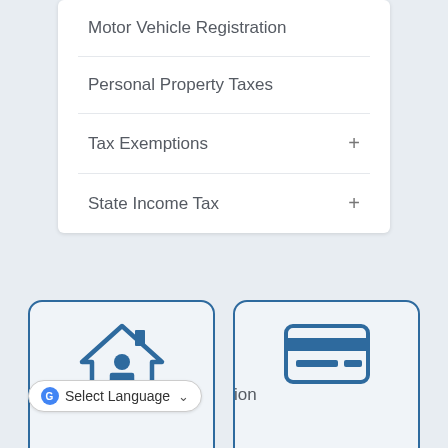Motor Vehicle Registration
Personal Property Taxes
Tax Exemptions +
State Income Tax +
[Figure (illustration): House icon with person silhouette inside, blue outline style]
Online Bill Pay
[Figure (illustration): Credit card icon, blue outline style]
Select Language dropdown (Google Translate widget)
ion